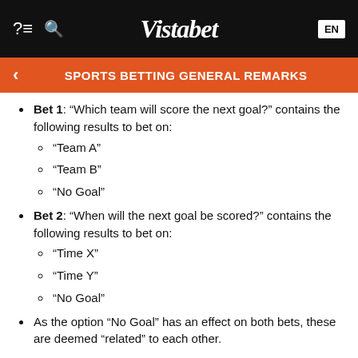Vistabet EN
SPORTS BETTING GENERAL REMARKS
Bet 1: “Which team will score the next goal?” contains the following results to bet on: “Team A”, “Team B”, “No Goal”
“Team A”
“Team B”
“No Goal”
Bet 2: “When will the next goal be scored?” contains the following results to bet on: “Time X”, “Time Y”, “No Goal”
“Time X”
“Time Y”
“No Goal”
As the option “No Goal” has an effect on both bets, these are deemed “related” to each other.
Related bets do not necessarily contain the same result or refer to the same action. As the relation of bets is not always as obvious as in the example above, the company reserves the right to determine which bets are related to each other. If a multi bet containing 2 or more